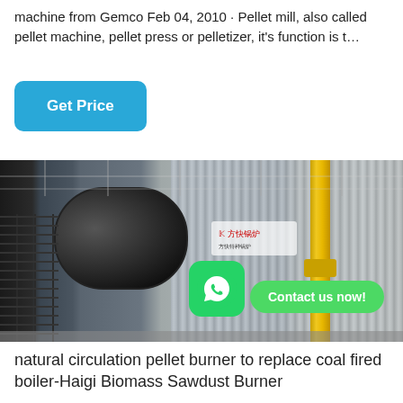machine from Gemco Feb 04, 2010 · Pellet mill, also called pellet machine, pellet press or pelletizer, it's function is t…
Get Price
[Figure (photo): Industrial boiler in a factory setting showing a large black cylindrical boiler on the left, corrugated metal body in the center, yellow gas pipes on the right, metal scaffolding/stairs, with a WhatsApp contact button overlay and 'Contact us now!' bubble.]
natural circulation pellet burner to replace coal fired boiler-Haigi Biomass Sawdust Burner